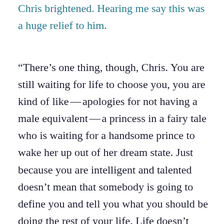Chris brightened. Hearing me say this was a huge relief to him.
"There's one thing, though, Chris. You are still waiting for life to choose you, you are kind of like — apologies for not having a male equivalent — a princess in a fairy tale who is waiting for a handsome prince to wake her up out of her dream state. Just because you are intelligent and talented doesn't mean that somebody is going to define you and tell you what you should be doing the rest of your life. Life doesn't work like that. Learn to take chances and not fear failures. In the past you just collapsed when life started putting pressure on you.You're much stronger today